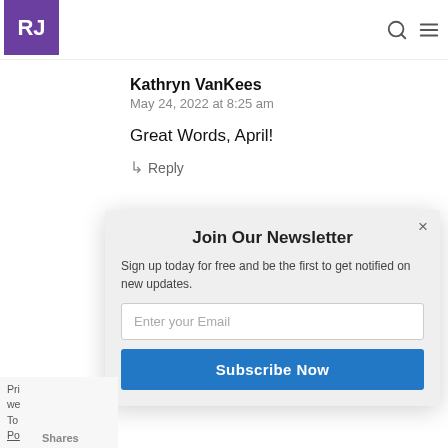RJ [logo] [search icon] [menu icon]
Kathryn VanKees
May 24, 2022 at 8:25 am
Great Words, April!
↳ Reply
Join Our Newsletter
Sign up today for free and be the first to get notified on new updates.
Enter your Email
Subscribe Now
Pri we To Po Shares